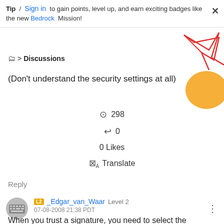Tip / Sign in to gain points, level up, and earn exciting badges like the new Bedrock Mission!
▶ Discussions
(Don't understand the security settings at all)
👁 298
↩ 0
0 Likes
🌐 Translate
Reply
_Edgar_van_Waar  Level 2  07-08-2008 21:38 PDT
When you trust a signature, you need to select the